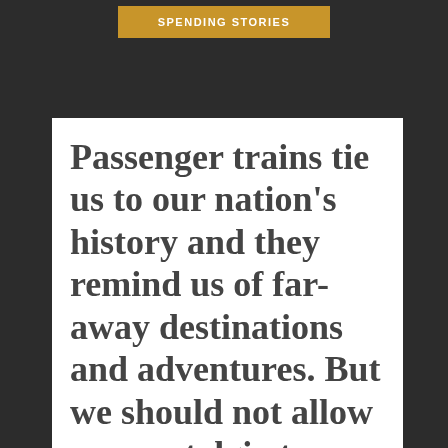[Figure (other): Dark banner with a gold/orange button at the top, partially visible. Button text reads 'SPENDING STORIES' or similar.]
Passenger trains tie us to our nation’s history and they remind us of far-away destinations and adventures. But we should not allow our nostalgia to cloud our rational thoughts about good public policy. Especially when it